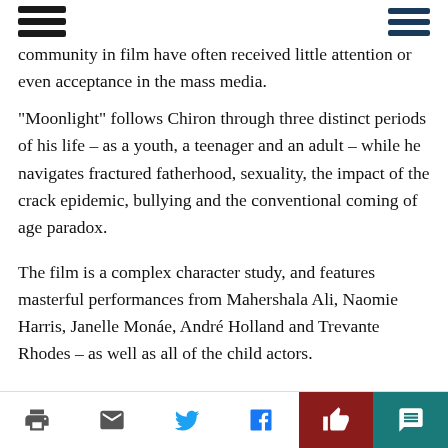community in film have often received little attention or even acceptance in the mass media.
“Moonlight” follows Chiron through three distinct periods of his life – as a youth, a teenager and an adult – while he navigates fractured fatherhood, sexuality, the impact of the crack epidemic, bullying and the conventional coming of age paradox.
The film is a complex character study, and features masterful performances from Mahershala Ali, Naomie Harris, Janelle Monáe, André Holland and Trevante Rhodes – as well as all of the child actors.
The film is beautifully shot, and its use of color and texture is still a major influence on subsequent productions, such as the hit TV show “Euphoria.”
Barry Jenkins not only proved himself as one of cinema’s most valued new directors with the film, but his screenplay for the film is one the best that modern cinema has to offer. His script is a